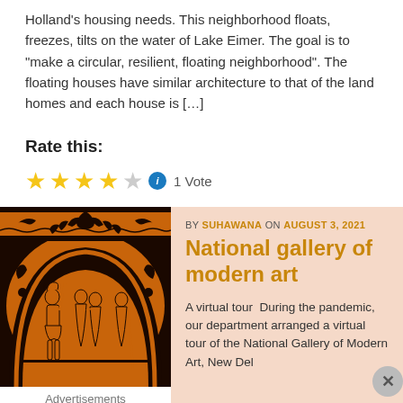Holland's housing needs. This neighborhood floats, freezes, tilts on the water of Lake Eimer. The goal is to "make a circular, resilient, floating neighborhood". The floating houses have similar architecture to that of the land homes and each house is […]
Rate this:
[Figure (other): Four yellow/gold filled stars and one empty star rating widget, followed by an info icon and '1 Vote' text]
[Figure (photo): Greek-style red-figure pottery artwork showing figures in classical Greek style with ornamental border patterns]
Advertisements
BY SUHAWANA ON AUGUST 3, 2021
National gallery of modern art
A virtual tour  During the pandemic, our department arranged a virtual tour of the National Gallery of Modern Art, New Del…